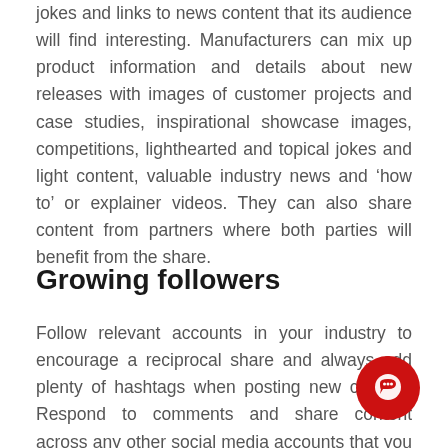jokes and links to news content that its audience will find interesting. Manufacturers can mix up product information and details about new releases with images of customer projects and case studies, inspirational showcase images, competitions, lighthearted and topical jokes and light content, valuable industry news and ‘how to’ or explainer videos. They can also share content from partners where both parties will benefit from the share.
Growing followers
Follow relevant accounts in your industry to encourage a reciprocal share and always add plenty of hashtags when posting new content. Respond to comments and share content across any other social media accounts that you might have. Remember to include details of your Instagram handle on your other marketing and